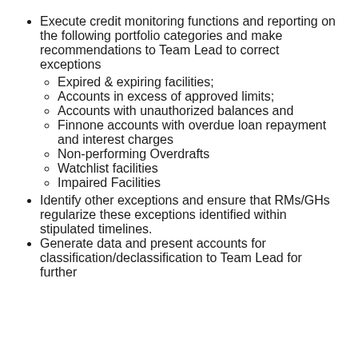Execute credit monitoring functions and reporting on the following portfolio categories and make recommendations to Team Lead to correct exceptions
Expired & expiring facilities;
Accounts in excess of approved limits;
Accounts with unauthorized balances and
Finnone accounts with overdue loan repayment and interest charges
Non-performing Overdrafts
Watchlist facilities
Impaired Facilities
Identify other exceptions and ensure that RMs/GHs regularize these exceptions identified within stipulated timelines.
Generate data and present accounts for classification/declassification to Team Lead for further